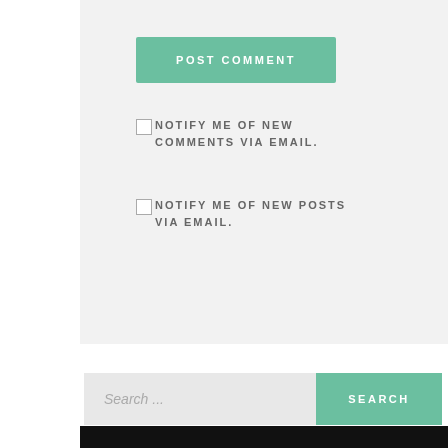POST COMMENT
NOTIFY ME OF NEW COMMENTS VIA EMAIL.
NOTIFY ME OF NEW POSTS VIA EMAIL.
Search ...
SEARCH